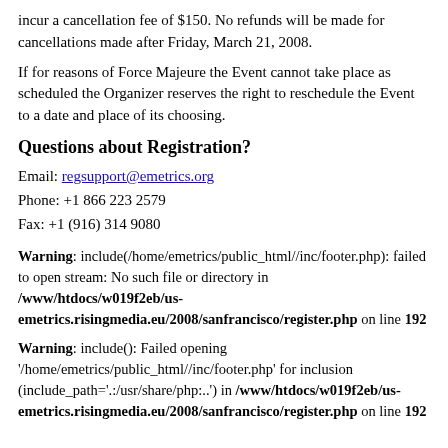incur a cancellation fee of $150. No refunds will be made for cancellations made after Friday, March 21, 2008.
If for reasons of Force Majeure the Event cannot take place as scheduled the Organizer reserves the right to reschedule the Event to a date and place of its choosing.
Questions about Registration?
Email: regsupport@emetrics.org
Phone: +1 866 223 2579
Fax: +1 (916) 314 9080
Warning: include(/home/emetrics/public_html//inc/footer.php): failed to open stream: No such file or directory in /www/htdocs/w019f2eb/us-emetrics.risingmedia.eu/2008/sanfrancisco/register.php on line 192
Warning: include(): Failed opening '/home/emetrics/public_html//inc/footer.php' for inclusion (include_path='.:/usr/share/php:..') in /www/htdocs/w019f2eb/us-emetrics.risingmedia.eu/2008/sanfrancisco/register.php on line 192